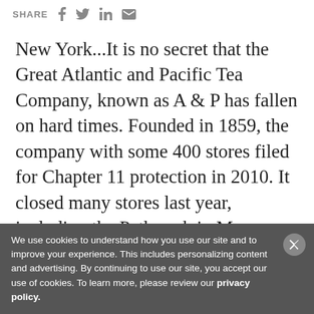SHARE [facebook] [twitter] [linkedin] [email]
New York...It is no secret that the Great Atlantic and Pacific Tea Company, known as A & P has fallen on hard times. Founded in 1859, the company with some 400 stores filed for Chapter 11 protection in 2010. It closed many stores last year, including the Pathmark in Monsey NY, but in December A & P took a major step to upgrade its kosher program. Barry Eizik, a veteran kosher foods official
We use cookies to understand how you use our site and to improve your experience. This includes personalizing content and advertising. By continuing to use our site, you accept our use of cookies. To learn more, please review our privacy policy.